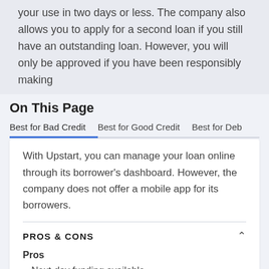your use in two days or less. The company also allows you to apply for a second loan if you still have an outstanding loan. However, you will only be approved if you have been responsibly making
On This Page
Best for Bad Credit    Best for Good Credit    Best for Deb
With Upstart, you can manage your loan online through its borrower's dashboard. However, the company does not offer a mobile app for its borrowers.
PROS & CONS
Pros
Next-day funding available